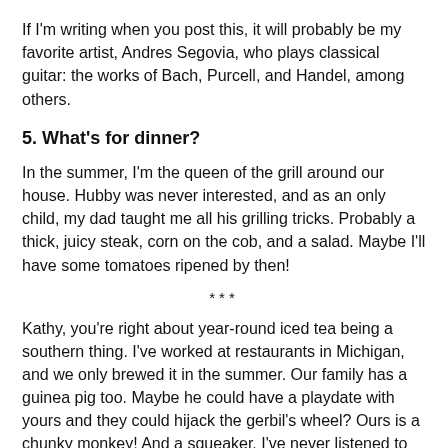If I'm writing when you post this, it will probably be my favorite artist, Andres Segovia, who plays classical guitar: the works of Bach, Purcell, and Handel, among others.
5. What's for dinner?
In the summer, I'm the queen of the grill around our house. Hubby was never interested, and as an only child, my dad taught me all his grilling tricks. Probably a thick, juicy steak, corn on the cob, and a salad. Maybe I'll have some tomatoes ripened by then!
***
Kathy, you're right about year-round iced tea being a southern thing. I've worked at restaurants in Michigan, and we only brewed it in the summer. Our family has a guinea pig too. Maybe he could have a playdate with yours and they could hijack the gerbil's wheel? Ours is a chunky monkey! And a squeaker. I've never listened to Andres Segovia, but his music sounds inspiring--I'm adding him to my list of artists to check out!
I can't believe you teased us with your grilling tricks and